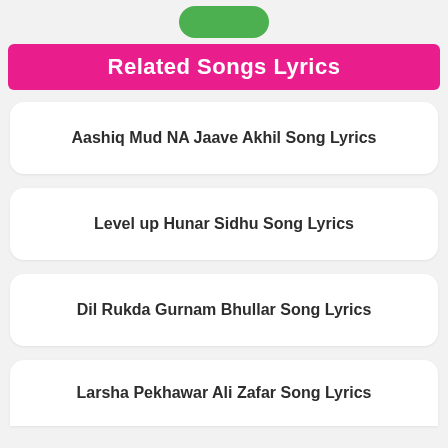[Figure (other): Partially visible green rounded button at top center]
Related Songs Lyrics
Aashiq Mud NA Jaave Akhil Song Lyrics
Level up Hunar Sidhu Song Lyrics
Dil Rukda Gurnam Bhullar Song Lyrics
Larsha Pekhawar Ali Zafar Song Lyrics